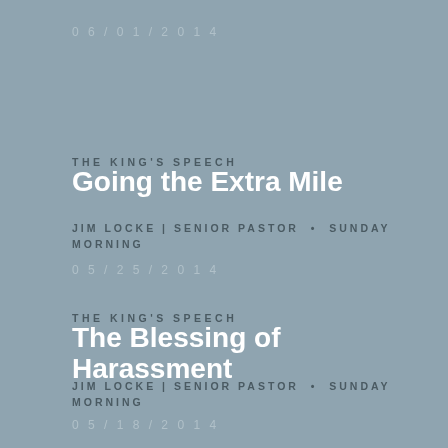06/01/2014
THE KING'S SPEECH
Going the Extra Mile
JIM LOCKE | SENIOR PASTOR  •  SUNDAY MORNING
05/25/2014
THE KING'S SPEECH
The Blessing of Harassment
JIM LOCKE | SENIOR PASTOR  •  SUNDAY MORNING
05/18/2014